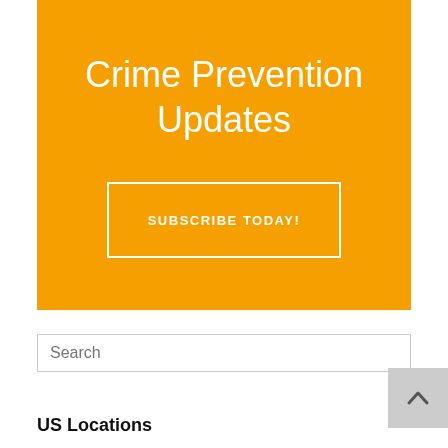[Figure (other): Orange banner with 'Crime Prevention Updates' title and 'SUBSCRIBE TODAY!' button with white border]
Crime Prevention Updates
SUBSCRIBE TODAY!
Search
US Locations